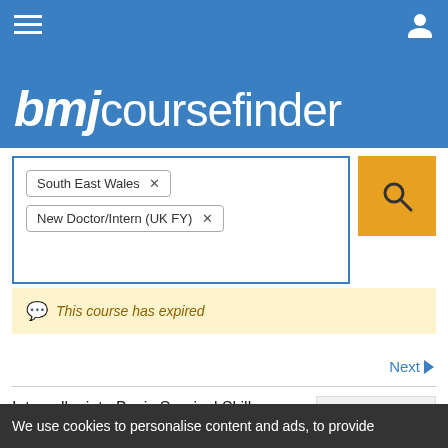bmjcoursefinder
South East Wales ×
New Doctor/Intern (UK FY) ×
This course has expired
Next ▶
Intercollegiate Basic Surgical Skills
We use cookies to personalise content and ads, to provide